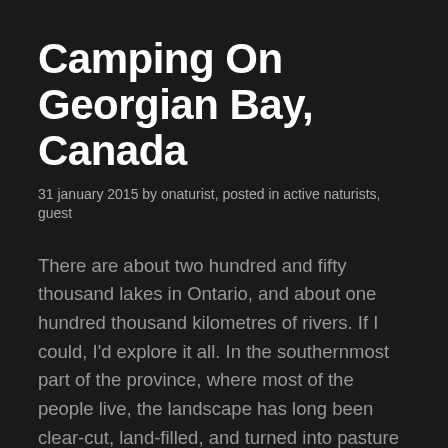Camping On Georgian Bay, Canada
31 january 2015 by onaturist, posted in active naturists, guest
There are about two hundred and fifty thousand lakes in Ontario, and about one hundred thousand kilometres of rivers. If I could, I'd explore it all. In the southernmost part of the province, where most of the people live, the landscape has long been clear-cut, land-filled, and turned into pasture – and is now being swallowed up by suburbs and roads. But go north of the southernmost ten percent of Ontario, into the vast Canadian Shield, and small towns and cities sit like islands connected by bridges of asphalt amid an ocean of water, rock, and